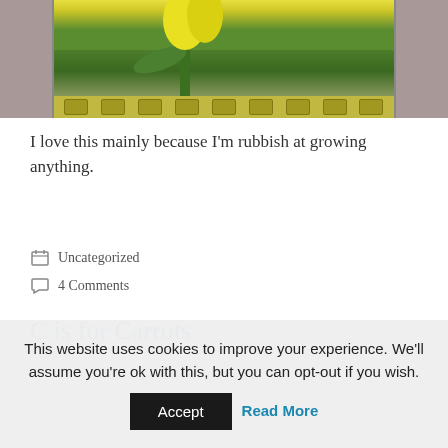[Figure (photo): Partial photo of yellow tulips with green leaves, bordered by a film strip at the bottom with yellow rectangular holes. Background is brownish-pink.]
I love this mainly because I'm rubbish at growing anything.
Uncategorized
4 Comments
C is for Carrots
March 20, 2012 by pinkoddy
This website uses cookies to improve your experience. We'll assume you're ok with this, but you can opt-out if you wish.  Accept  Read More